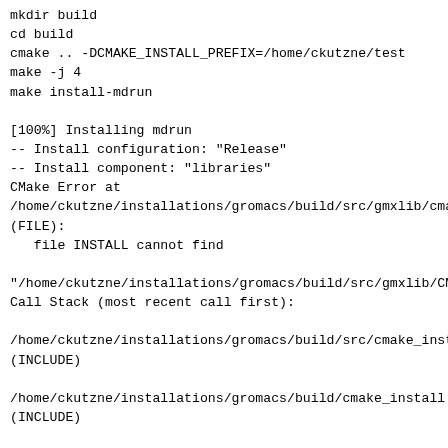mkdir build
cd build
cmake .. -DCMAKE_INSTALL_PREFIX=/home/ckutzne/test
make -j 4
make install-mdrun

[100%] Installing mdrun
-- Install configuration: "Release"
-- Install component: "libraries"
CMake Error at
/home/ckutzne/installations/gromacs/build/src/gmxlib/cmak
(FILE):
   file INSTALL cannot find

"/home/ckutzne/installations/gromacs/build/src/gmxlib/CMa
Call Stack (most recent call first):

/home/ckutzne/installations/gromacs/build/src/cmake_insta
(INCLUDE)

/home/ckutzne/installations/gromacs/build/cmake_install.c
(INCLUDE)


make[3]: *** [src/kernel/CMakeFiles/install-mdrun]
Error 1
make[2]: *** [src/kernel/CMakeFiles/install-
mdrun.dir/all] Error 2
make[1]: *** [src/kernel/CMakeFiles/install-
mdrun.dir/rule] Error 2